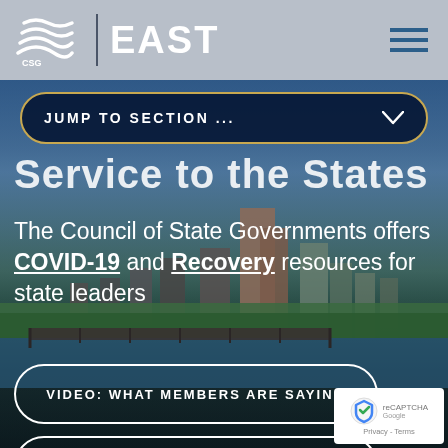CSG EAST
JUMP TO SECTION ...
Service to the States
The Council of State Governments offers COVID-19 and Recovery resources for state leaders
VIDEO: WHAT MEMBERS ARE SAYING
VIEW CSG EAST POLICY AREAS
[Figure (logo): reCAPTCHA badge with Google logo and Privacy - Terms link]